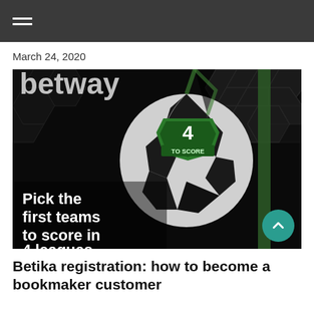March 24, 2020
[Figure (photo): Betway promotional image showing a soccer ball with '4 TO SCORE' branding on a goal net background, with text 'Pick the first teams to score in 4 leagues']
Betika registration: how to become a bookmaker customer